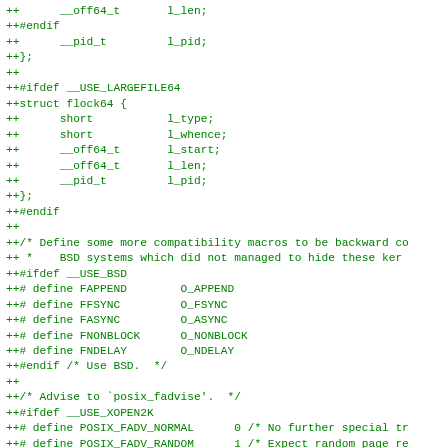++      __off64_t       l_len;
++#endif
++      __pid_t         l_pid;
++};
++
++#ifdef __USE_LARGEFILE64
++struct flock64 {
++      short           l_type;
++      short           l_whence;
++      __off64_t       l_start;
++      __off64_t       l_len;
++      __pid_t         l_pid;
++};
++#endif
++
++/* Define some more compatibility macros to be backward co
++ *    BSD systems which did not managed to hide these ker
++#ifdef __USE_BSD
++# define FAPPEND        O_APPEND
++# define FFSYNC         O_FSYNC
++# define FASYNC         O_ASYNC
++# define FNONBLOCK      O_NONBLOCK
++# define FNDELAY        O_NDELAY
++#endif /* Use BSD.  */
++
++/* Advise to `posix_fadvise'.  */
++#ifdef __USE_XOPEN2K
++# define POSIX_FADV_NORMAL      0 /* No further special tr
++# define POSIX_FADV_RANDOM      1 /* Expect random page re
++# define POSIX_FADV_SEQUENTIAL  2 /* Expect sequential pag
++# define POSIX_FADV_WILLNEED    3 /* Will need these pages
++# define POSIX_FADV_DONTNEED    4 /* Don't need these page
++# define POSIX_FADV_NOREUSE     5 /* Data will be accesse